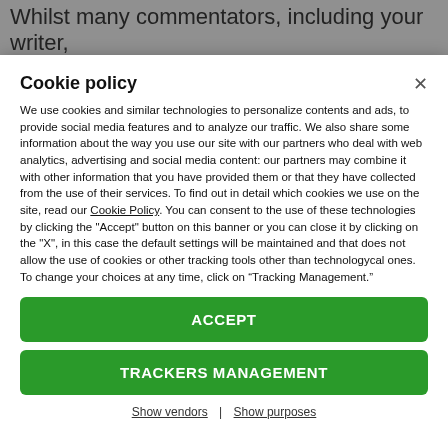Whilst many commentators, including your writer,
Cookie policy
We use cookies and similar technologies to personalize contents and ads, to provide social media features and to analyze our traffic. We also share some information about the way you use our site with our partners who deal with web analytics, advertising and social media content: our partners may combine it with other information that you have provided them or that they have collected from the use of their services. To find out in detail which cookies we use on the site, read our Cookie Policy. You can consent to the use of these technologies by clicking the "Accept" button on this banner or you can close it by clicking on the "X", in this case the default settings will be maintained and that does not allow the use of cookies or other tracking tools other than technologycal ones. To change your choices at any time, click on “Tracking Management.”
ACCEPT
TRACKERS MANAGEMENT
Show vendors | Show purposes